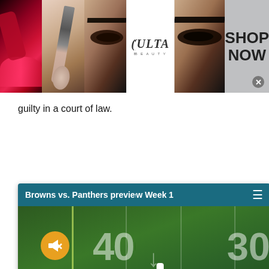[Figure (photo): Ulta Beauty advertisement banner showing makeup imagery — lips with lipstick, makeup brush, smokey eye makeup, Ulta Beauty logo, eye close-up, and 'SHOP NOW' call to action]
guilty in a court of law.
[Figure (screenshot): Embedded video player showing Browns vs. Panthers preview Week 1, with NFL football field footage, mute button, and hamburger menu icon]
[Figure (photo): Kohl's advertisement: 'Up to 60% off Clothing at Kohl's — Save up to 60% on clothing and homeware at Kohls.com' with store image and blue arrow button]